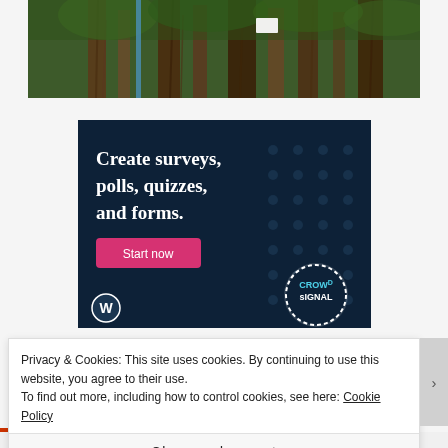[Figure (photo): Photograph of tall tropical trees with aerial roots, likely banyan trees, with dense green foliage]
[Figure (infographic): Dark navy advertisement banner reading 'Create surveys, polls, quizzes, and forms.' with a pink 'Start now' button and Crowdsignal logo in the bottom right]
Privacy & Cookies: This site uses cookies. By continuing to use this website, you agree to their use.
To find out more, including how to control cookies, see here: Cookie Policy
Close and accept